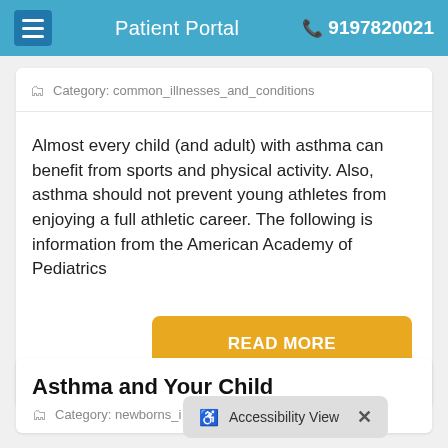Patient Portal | 9197820021
Category: common_illnesses_and_conditions
Almost every child (and adult) with asthma can benefit from sports and physical activity. Also, asthma should not prevent young athletes from enjoying a full athletic career. The following is information from the American Academy of Pediatrics
READ MORE
Asthma and Your Child
Category: newborns_i...
Accessibility View  ×